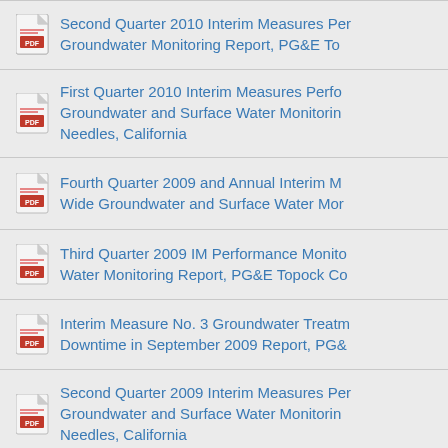Second Quarter 2010 Interim Measures Per… Groundwater Monitoring Report, PG&E To…
First Quarter 2010 Interim Measures Perfo… Groundwater and Surface Water Monitorin… Needles, California
Fourth Quarter 2009 and Annual Interim M… Wide Groundwater and Surface Water Mor…
Third Quarter 2009 IM Performance Monito… Water Monitoring Report, PG&E Topock Co…
Interim Measure No. 3 Groundwater Treatm… Downtime in September 2009 Report, PG&…
Second Quarter 2009 Interim Measures Per… Groundwater and Surface Water Monitorin… Needles, California